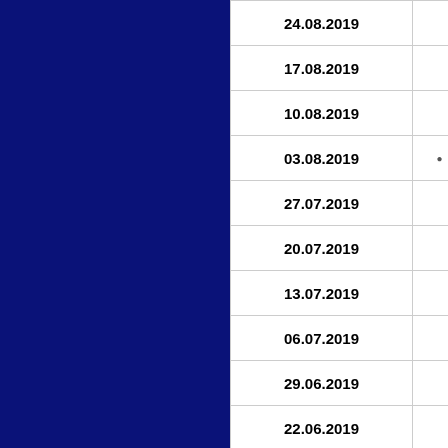| Date | Value |
| --- | --- |
| 24.08.2019 |  |
| 17.08.2019 |  |
| 10.08.2019 |  |
| 03.08.2019 |  |
| 27.07.2019 |  |
| 20.07.2019 |  |
| 13.07.2019 |  |
| 06.07.2019 |  |
| 29.06.2019 |  |
| 22.06.2019 |  |
| 15.06.2019 |  |
| 08.06.2019 |  |
| 01.06.2019 |  |
| 25.05.2019 |  |